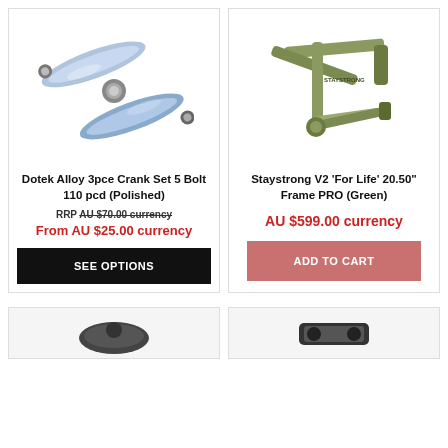[Figure (photo): Dotek Alloy 3pce Crank Set - polished silver/blue metal cranks]
Dotek Alloy 3pce Crank Set 5 Bolt 110 pcd (Polished)
RRP AU $70.00 currency
From AU $25.00 currency
SEE OPTIONS
[Figure (photo): Staystrong V2 For Life 20.50 inch Frame PRO in Green color]
Staystrong V2 'For Life' 20.50" Frame PRO (Green)
AU $599.00 currency
ADD TO CART
[Figure (photo): Partial product image bottom left - dark colored item]
[Figure (photo): Partial product image bottom right - dark colored item]